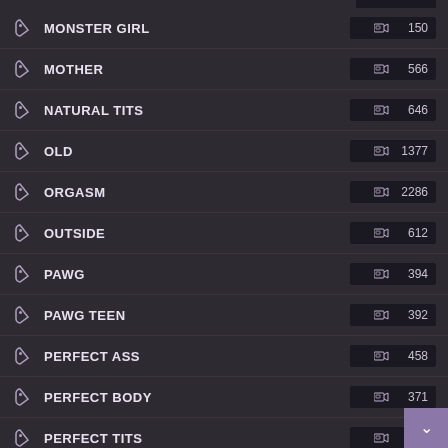MONSTER GIRL 150
MOTHER 566
NATURAL TITS 646
OLD 1377
ORGASM 2286
OUTSIDE 612
PAWG 394
PAWG TEEN 392
PERFECT ASS 458
PERFECT BODY 371
PERFECT TITS 29...